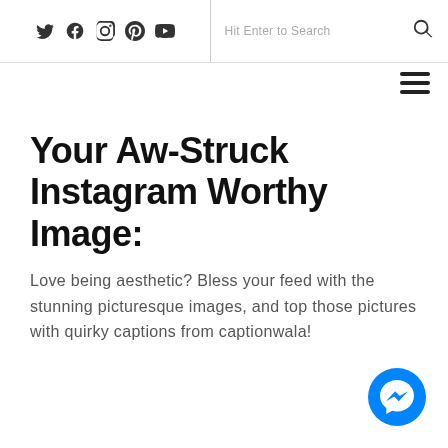Social icons and search bar
Your Aw-Struck Instagram Worthy Image:
Love being aesthetic? Bless your feed with the stunning picturesque images, and top those pictures with quirky captions from captionwala!